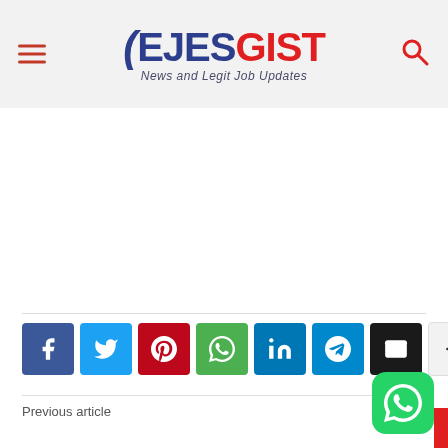EJESGIST - News and Legit Job Updates
[Figure (screenshot): Blank white content area (advertisement space)]
[Figure (infographic): Social share buttons row: Facebook, Twitter, Pinterest, WhatsApp, LinkedIn, Telegram, Email, More]
Previous article
Next a...